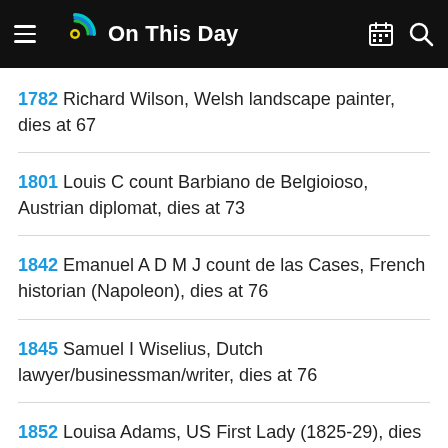On This Day
1782 Richard Wilson, Welsh landscape painter, dies at 67
1801 Louis C count Barbiano de Belgioioso, Austrian diplomat, dies at 73
1842 Emanuel A D M J count de las Cases, French historian (Napoleon), dies at 76
1845 Samuel I Wiselius, Dutch lawyer/businessman/writer, dies at 76
1852 Louisa Adams, US First Lady (1825-29), dies at 77
1855 Jan Mazereeuw, Frisian farmer/sect leader, dies at 75